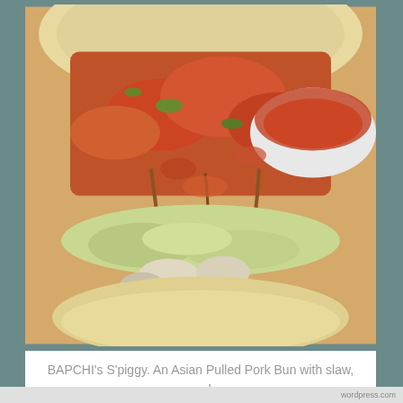[Figure (photo): Close-up photo of an Asian pulled pork bun (S'piggy) loaded with kimchi and slaw, with a bowl of kimchi visible in the background. The bun appears to be a steamed bao-style bun with generous toppings.]
BAPCHI's S'piggy. An Asian Pulled Pork Bun with slaw, and special sauces. A must try!
Privacy & Cookies: This site uses cookies. By continuing to use this website, you agree to their use.
To find out more, including how to control cookies, see here: Cookie Policy
Close and accept